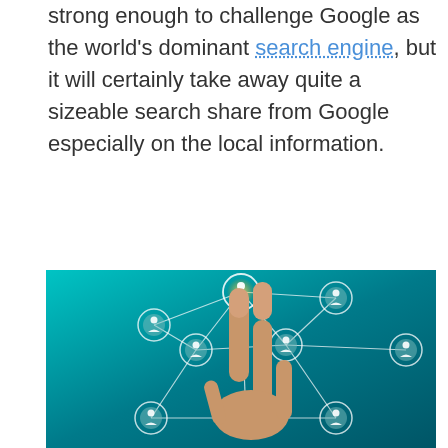strong enough to challenge Google as the world's dominant search engine, but it will certainly take away quite a sizeable search share from Google especially on the local information.
[Figure (photo): A hand with two fingers pointing upward touching a glowing network node icon, surrounded by circular person/user icons connected by white lines on a teal/cyan gradient background, representing a social or search network.]